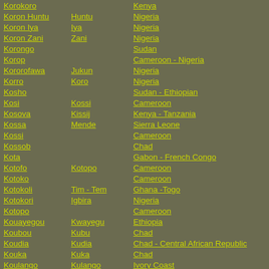| Name | Also Known As | Country |
| --- | --- | --- |
| Korokoro |  | Kenya |
| Koron Huntu | Huntu | Nigeria |
| Koron Iya | Iya | Nigeria |
| Koron Zani | Zani | Nigeria |
| Korongo |  | Sudan |
| Korop |  | Cameroon - Nigeria |
| Kororofawa | Jukun | Nigeria |
| Korro | Koro | Nigeria |
| Kosho |  | Sudan - Ethiopian |
| Kosi | Kossi | Cameroon |
| Kosova | Kissij | Kenya - Tanzania |
| Kossa | Mende | Sierra Leone |
| Kossi |  | Cameroon |
| Kossob |  | Chad |
| Kota |  | Gabon - French Congo |
| Kotofo | Kotopo | Cameroon |
| Kotoko |  | Cameroon |
| Kotokoli | Tim - Tem | Ghana -Togo |
| Kotokori | Igbira | Nigeria |
| Kotopo |  | Cameroon |
| Kouayegou | Kwayegu | Ethiopia |
| Koubou | Kubu | Chad |
| Koudia | Kudia | Chad - Central African Republic |
| Kouka | Kuka | Chad |
| Koulango | Kulango | Ivory Coast |
| Koule | Tsamai | Ethiopia |
| Koulfa | Kulfa | Chad - Central African Republic |
| Kounta | Kunta | Algeria - Mali - Algerian |